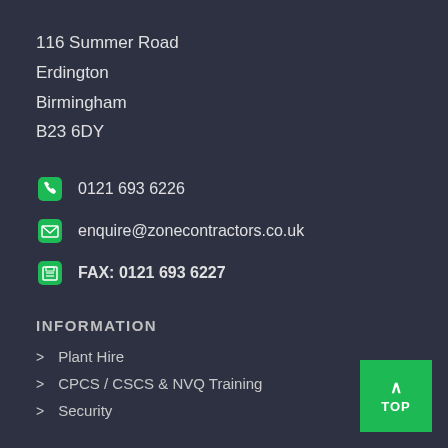116 Summer Road
Erdington
Birmingham
B23 6DY
0121 693 6226
enquire@zonecontractors.co.uk
FAX: 0121 693 6227
INFORMATION
Plant Hire
CPCS / CSCS & NVQ Training
Security